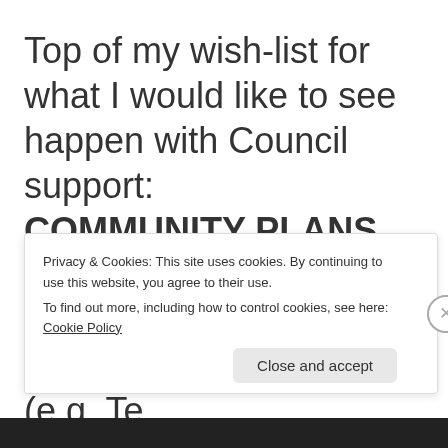Top of my wish-list for what I would like to see happen with Council support:
COMMUNITY PLANS developed with residents for every settlement and suburb that wants one (e.g. Te
Privacy & Cookies: This site uses cookies. By continuing to use this website, you agree to their use.
To find out more, including how to control cookies, see here: Cookie Policy
Close and accept